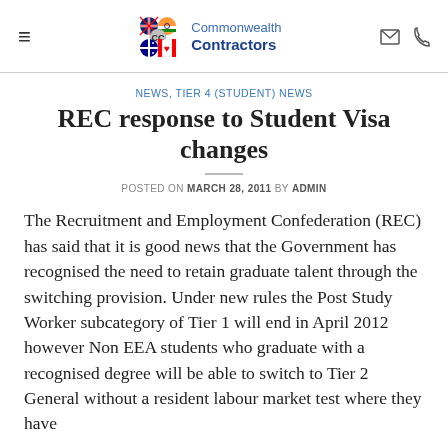Commonwealth Contractors
NEWS, TIER 4 (STUDENT) NEWS
REC response to Student Visa changes
POSTED ON MARCH 28, 2011 BY ADMIN
The Recruitment and Employment Confederation (REC) has said that it is good news that the Government has recognised the need to retain graduate talent through the switching provision. Under new rules the Post Study Worker subcategory of Tier 1 will end in April 2012 however Non EEA students who graduate with a recognised degree will be able to switch to Tier 2 General without a resident labour market test where they have